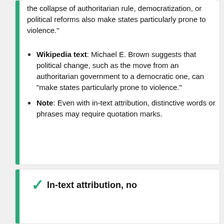the collapse of authoritarian rule, democratization, or political reforms also make states particularly prone to violence."
Wikipedia text: Michael E. Brown suggests that political change, such as the move from an authoritarian government to a democratic one, can "make states particularly prone to violence."
Note: Even with in-text attribution, distinctive words or phrases may require quotation marks.
In-text attribution, no